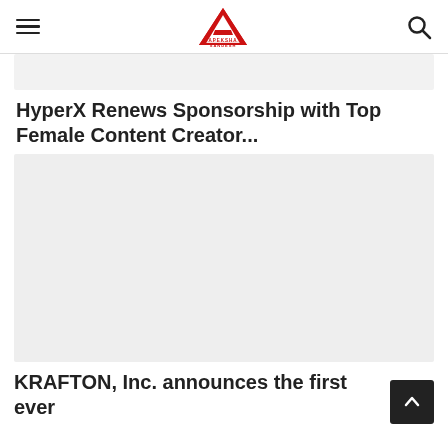Apeksha Sandesh
[Figure (illustration): Light gray placeholder card area below the header]
HyperX Renews Sponsorship with Top Female Content Creator...
[Figure (photo): Large light gray image placeholder for article photo]
KRAFTON, Inc. announces the first ever